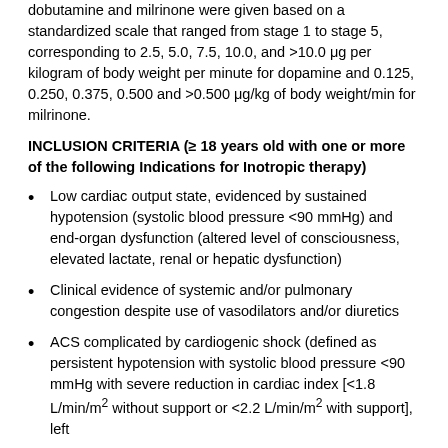dobutamine and milrinone were given based on a standardized scale that ranged from stage 1 to stage 5, corresponding to 2.5, 5.0, 7.5, 10.0, and >10.0 μg per kilogram of body weight per minute for dopamine and 0.125, 0.250, 0.375, 0.500 and >0.500 μg/kg of body weight/min for milrinone.
INCLUSION CRITERIA (≥ 18 years old with one or more of the following Indications for Inotropic therapy)
Low cardiac output state, evidenced by sustained hypotension (systolic blood pressure <90 mmHg) and end-organ dysfunction (altered level of consciousness, elevated lactate, renal or hepatic dysfunction)
Clinical evidence of systemic and/or pulmonary congestion despite use of vasodilators and/or diuretics
ACS complicated by cardiogenic shock (defined as persistent hypotension with systolic blood pressure <90 mmHg with severe reduction in cardiac index [<1.8 L/min/m² without support or <2.2 L/min/m² with support], left